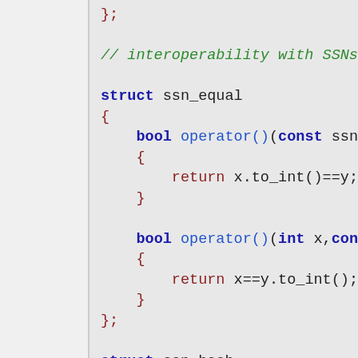Code snippet showing C++ structs ssn_equal and ssn_hash with operator() overloads for SSN interoperability